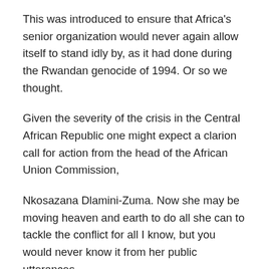This was introduced to ensure that Africa's senior organization would never again allow itself to stand idly by, as it had done during the Rwandan genocide of 1994. Or so we thought.
Given the severity of the crisis in the Central African Republic one might expect a clarion call for action from the head of the African Union Commission,
Nkosazana Dlamini-Zuma. Now she may be moving heaven and earth to do all she can to tackle the conflict for all I know, but you would never know it from her public utterances.
There is not a single article reflecting her work that I can find in recent weeks. Now it may be that journalists like myself have been failing in our job, or perhaps she has a